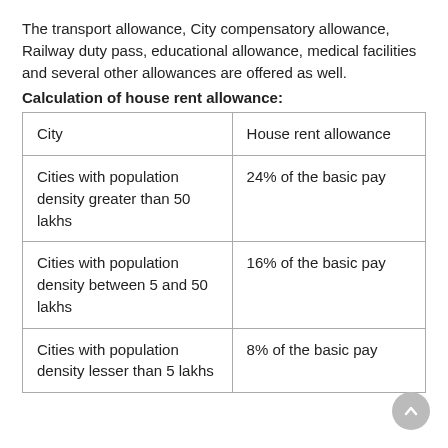The transport allowance, City compensatory allowance, Railway duty pass, educational allowance, medical facilities and several other allowances are offered as well.
Calculation of house rent allowance:
| City | House rent allowance |
| --- | --- |
| Cities with population density greater than 50 lakhs | 24% of the basic pay |
| Cities with population density between 5 and 50 lakhs | 16% of the basic pay |
| Cities with population density lesser than 5 lakhs | 8% of the basic pay |